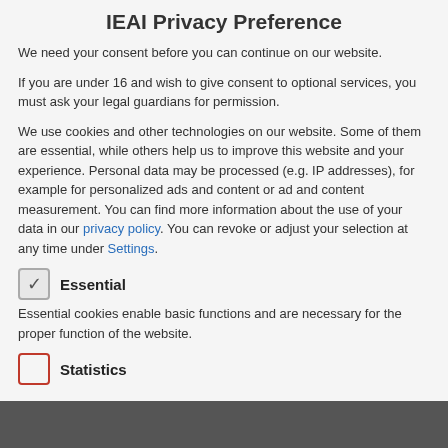IEAI Privacy Preference
We need your consent before you can continue on our website.
If you are under 16 and wish to give consent to optional services, you must ask your legal guardians for permission.
We use cookies and other technologies on our website. Some of them are essential, while others help us to improve this website and your experience. Personal data may be processed (e.g. IP addresses), for example for personalized ads and content or ad and content measurement. You can find more information about the use of your data in our privacy policy. You can revoke or adjust your selection at any time under Settings.
Essential
Essential cookies enable basic functions and are necessary for the proper function of the website.
Statistics
panel ends with recap of the major topics/concerns brought up (~5 minutes).
For each panel there will be a documentation to post comments and notes; note writers will be assigned to each